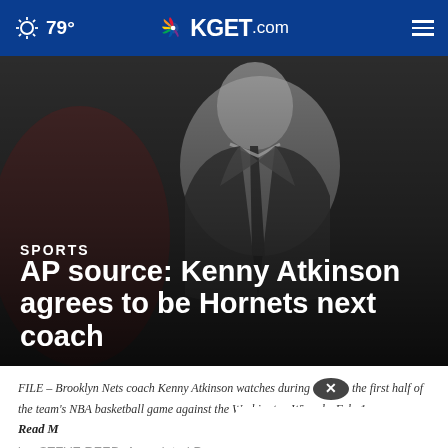79° KGET.com
[Figure (photo): Blurred dark background photo of a man in a suit and tie, appears to be a basketball coach on the sideline]
SPORTS
AP source: Kenny Atkinson agrees to be Hornets next coach
FILE – Brooklyn Nets coach Kenny Atkinson watches during the first half of the team's NBA basketball game against the Washington Wizards, Feb. 1,...
Read M...
by: STEVE REED, Associated Press